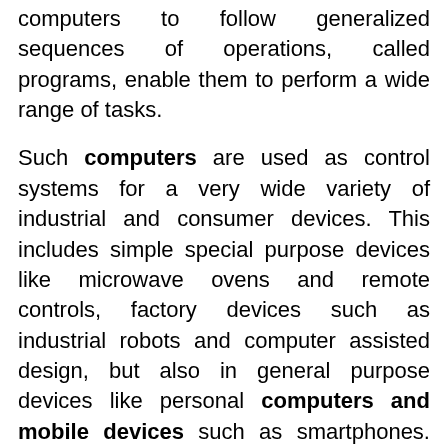computers to follow generalized sequences of operations, called programs, enable them to perform a wide range of tasks.
Such computers are used as control systems for a very wide variety of industrial and consumer devices. This includes simple special purpose devices like microwave ovens and remote controls, factory devices such as industrial robots and computer assisted design, but also in general purpose devices like personal computers and mobile devices such as smartphones. The Internet is run on computers and it connects millions of other computers.